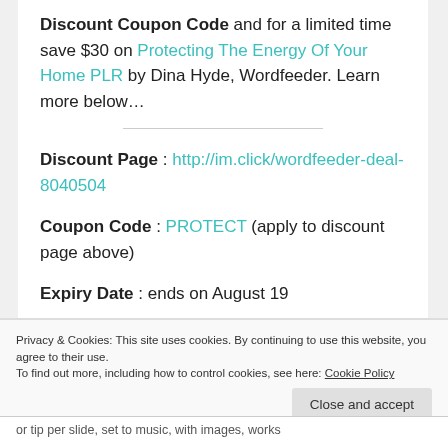Discount Coupon Code and for a limited time save $30 on Protecting The Energy Of Your Home PLR by Dina Hyde, Wordfeeder. Learn more below…
Discount Page : http://im.click/wordfeeder-deal-8040504
Coupon Code : PROTECT (apply to discount page above)
Expiry Date : ends on August 19
Privacy & Cookies: This site uses cookies. By continuing to use this website, you agree to their use. To find out more, including how to control cookies, see here: Cookie Policy
or tip per slide, set to music, with images, works